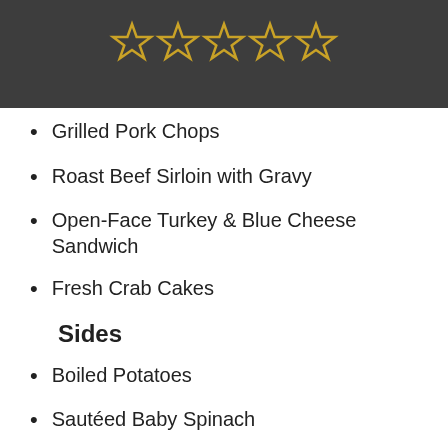[Figure (illustration): Five outlined star icons in golden/yellow color on a dark gray background, representing a 5-star rating display]
Grilled Pork Chops
Roast Beef Sirloin with Gravy
Open-Face Turkey & Blue Cheese Sandwich
Fresh Crab Cakes
Sides
Boiled Potatoes
Sautéed Baby Spinach
Steamed Vegetable Medley